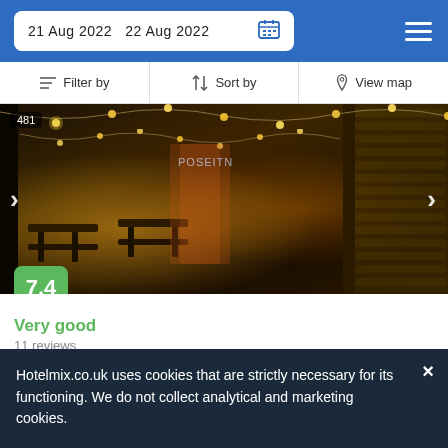21 Aug 2022   22 Aug 2022
Filter by   Sort by   View map
[Figure (photo): Nighttime photo of a hotel outdoor seating area with string lights, wooden structures, and warm ambient lighting. Number 481 visible top left.]
Very good
11 reviews
1.7 mi from Sandiacre
1.7 mi from City Centre
There are rooms facing the garden and the hotel is set close to Lane's Garden Centre Open Farm.
Hotelmix.co.uk uses cookies that are strictly necessary for its functioning. We do not collect analytical and marketing cookies.